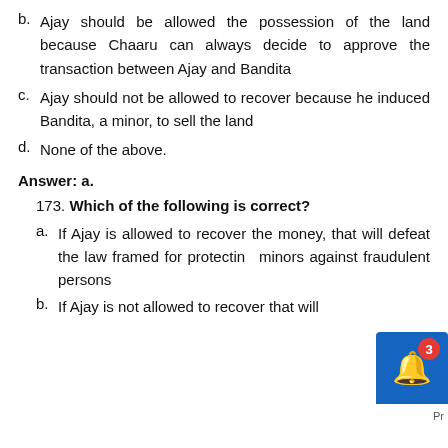b. Ajay should be allowed the possession of the land because Chaaru can always decide to approve the transaction between Ajay and Bandita
c. Ajay should not be allowed to recover because he induced Bandita, a minor, to sell the land
d. None of the above.
Answer: a.
173. Which of the following is correct?
a. If Ajay is allowed to recover the money, that will defeat the law framed for protecting minors against fraudulent persons
b. If Ajay is not allowed to recover that will